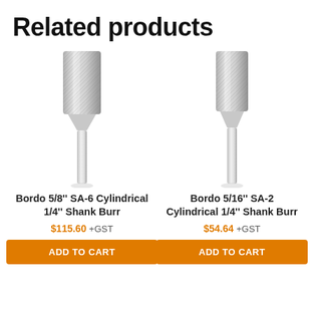Related products
[Figure (photo): Carbide cylindrical shank burr tool - Bordo 5/8 inch SA-6, showing the hatched cutting head and silver metal shank]
Bordo 5/8'' SA-6 Cylindrical 1/4'' Shank Burr
$115.60 +GST
ADD TO CART
[Figure (photo): Carbide cylindrical shank burr tool - Bordo 5/16 inch SA-2, showing the hatched cutting head and silver metal shank]
Bordo 5/16'' SA-2 Cylindrical 1/4'' Shank Burr
$54.64 +GST
ADD TO CART